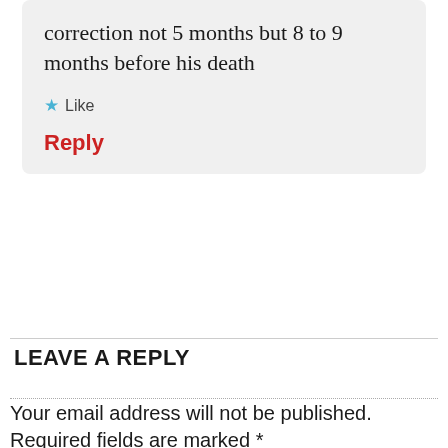correction not 5 months but 8 to 9 months before his death
★ Like
Reply
LEAVE A REPLY
Your email address will not be published. Required fields are marked *